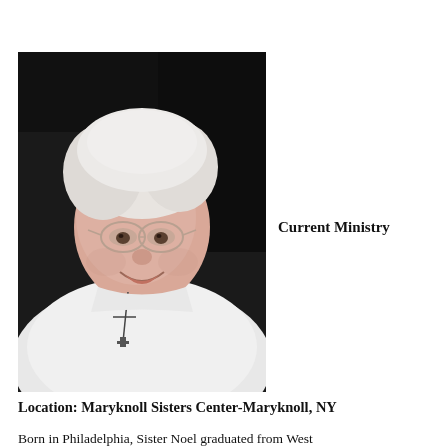[Figure (photo): Portrait photo of an elderly woman with white hair and glasses, wearing a white top with a cross pendant necklace, smiling, against a dark background.]
Current Ministry
Location: Maryknoll Sisters Center-Maryknoll, NY
Born in Philadelphia, Sister Noel graduated from West